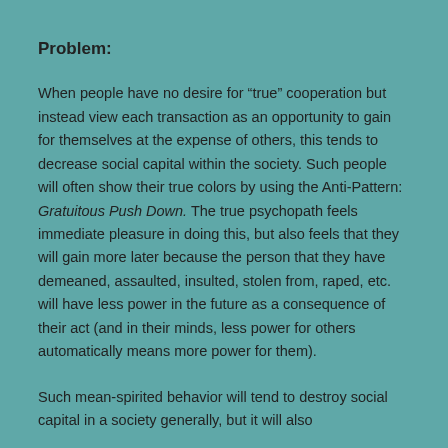Problem:
When people have no desire for “true” cooperation but instead view each transaction as an opportunity to gain for themselves at the expense of others, this tends to decrease social capital within the society. Such people will often show their true colors by using the Anti-Pattern: Gratuitous Push Down. The true psychopath feels immediate pleasure in doing this, but also feels that they will gain more later because the person that they have demeaned, assaulted, insulted, stolen from, raped, etc. will have less power in the future as a consequence of their act (and in their minds, less power for others automatically means more power for them).
Such mean-spirited behavior will tend to destroy social capital in a society generally, but it will also